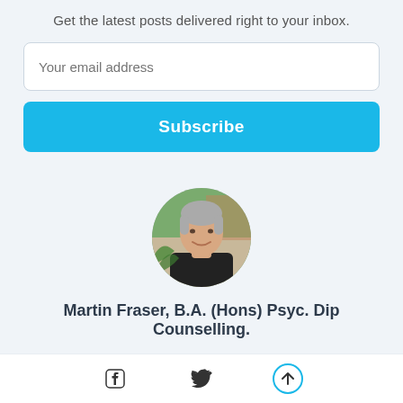Get the latest posts delivered right to your inbox.
[Figure (screenshot): Email input field with placeholder text 'Your email address']
[Figure (screenshot): Blue Subscribe button]
[Figure (photo): Circular cropped photo of Martin Fraser, a middle-aged man with gray hair wearing a black shirt, smiling, with greenery in the background]
Martin Fraser, B.A. (Hons) Psyc. Dip Counselling.
[Figure (screenshot): Bottom navigation bar with Facebook icon, Twitter icon, and a circular up-arrow icon]